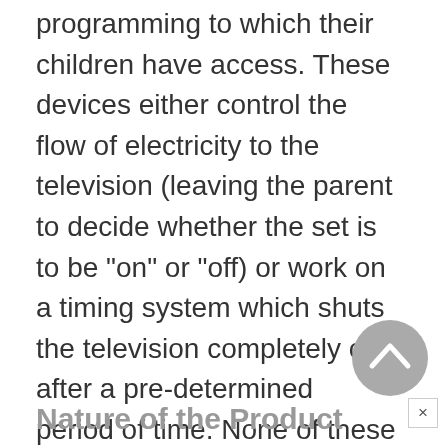programming to which their children have access. These devices either control the flow of electricity to the television (leaving the parent to decide whether the set is to be "on" or "off) or work on a timing system which shuts the television completely off after a pre-determined period of time. None of these devices allow the parent to pre-select specific stations and "lock out" others.
Nature of the Product